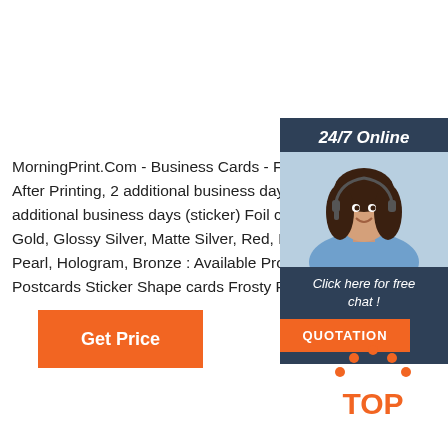MorningPrint.Com - Business Cards - Full Color Prin After Printing, 2 additional business days (paper) Af additional business days (sticker) Foil color: Glossy Gold, Glossy Silver, Matte Silver, Red, Blue, Green, Pearl, Hologram, Bronze : Available Products: Pape Postcards Sticker Shape cards Frosty Plastic Cards
[Figure (screenshot): Sidebar showing a customer service agent with headset, '24/7 Online' header, 'Click here for free chat!' text, and 'QUOTATION' orange button on dark blue background]
[Figure (logo): TOP logo with orange dots forming an arch above the word TOP in orange]
Get Price
QUOTATION